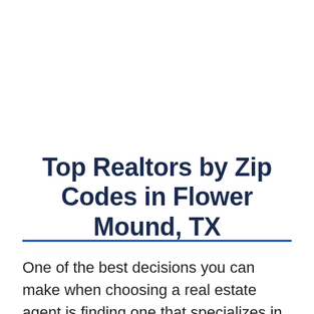Top Realtors by Zip Codes in Flower Mound, TX
One of the best decisions you can make when choosing a real estate agent is finding one that specializes in your market. The more sales an agent has in a specific area, the better they will